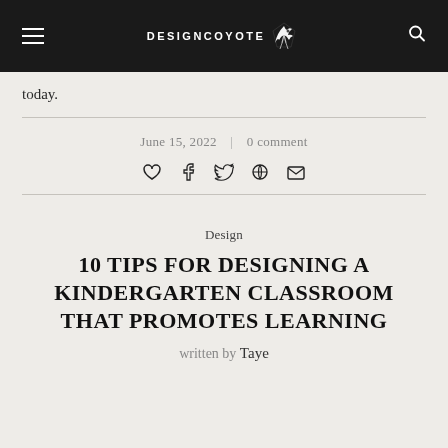DESIGNCOYOTE
today.
June 15, 2022  |  0 comment
[Figure (other): Social sharing icons: heart, facebook, twitter, pinterest, email]
Design
10 TIPS FOR DESIGNING A KINDERGARTEN CLASSROOM THAT PROMOTES LEARNING
written by Taye